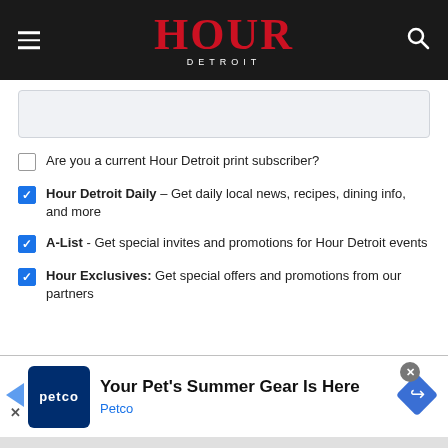HOUR DETROIT
Are you a current Hour Detroit print subscriber?
Hour Detroit Daily – Get daily local news, recipes, dining info, and more
A-List - Get special invites and promotions for Hour Detroit events
Hour Exclusives: Get special offers and promotions from our partners
[Figure (infographic): Petco advertisement banner: 'Your Pet's Summer Gear Is Here' with Petco logo and navigation icon]